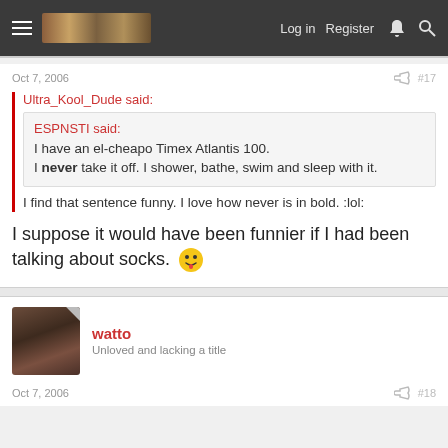Log in  Register
Oct 7, 2006  #17
Ultra_Kool_Dude said:
ESPNSTI said:
I have an el-cheapo Timex Atlantis 100.
I never take it off. I shower, bathe, swim and sleep with it.
I find that sentence funny. I love how never is in bold. :lol:
I suppose it would have been funnier if I had been talking about socks.
watto
Unloved and lacking a title
Oct 7, 2006  #18